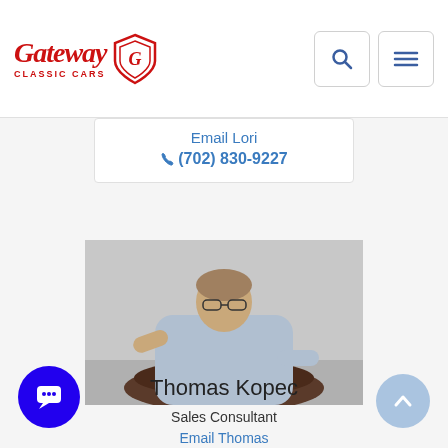Gateway Classic Cars
Email Lori
(702) 830-9227
[Figure (photo): Photo of Thomas Kopec, a middle-aged man with glasses wearing a light blue button-up shirt, leaning on a classic car.]
Thomas Kopec
Sales Consultant
Email Thomas